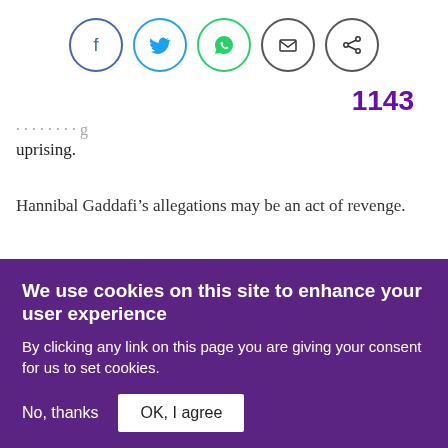[Figure (other): Social sharing icons: Facebook (blue circle), Twitter (blue circle), WhatsApp (green circle), Email (dark circle), Share (dark circle)]
1143
uprising.
Hannibal Gaddafi’s allegations may be an act of revenge.
Green resurgence in Libya
Attempts to free Hannibal come at a time when the green
We use cookies on this site to enhance your user experience
By clicking any link on this page you are giving your consent for us to set cookies.
No, thanks
OK, I agree